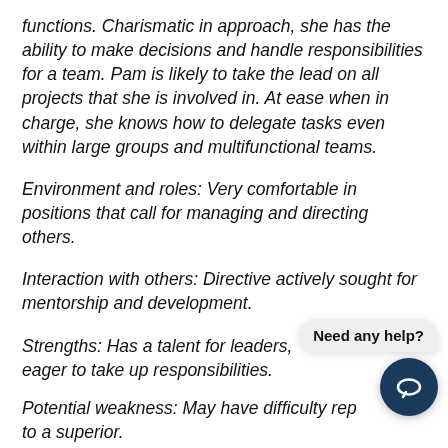functions. Charismatic in approach, she has the ability to make decisions and handle responsibilities for a team. Pam is likely to take the lead on all projects that she is involved in. At ease when in charge, she knows how to delegate tasks even within large groups and multifunctional teams.
Environment and roles: Very comfortable in positions that call for managing and directing others.
Interaction with others: Directive actively sought for mentorship and development.
Strengths: Has a talent for leaders, eager to take up responsibilities.
Potential weakness: May have difficulty rep to a superior.